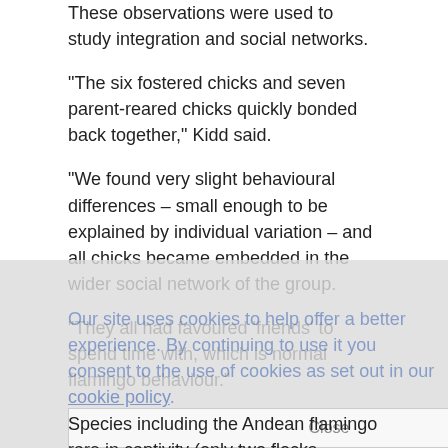These observations were used to study integration and social networks.
"The six fostered chicks and seven parent-reared chicks quickly bonded back together," Kidd said.
"We found very slight behavioural differences – small enough to be explained by individual variation – and all chicks became embedded in the wider social network of the group.
"They all had favoured 'friends' to spend time with, which is normal flamingo behaviour."
Species including the Andean flamingo rare in captivity (only two flocks worldwide) and are classified as "vulnerable" in the wild.
Flamingos can be challenging to breed regularly in captivity, so the findings about successful fostering may help zoo conservation programmes.
"Foster rearing appears to be a safe method for conservation breeding of these species if done correctly," Dr Rose said.
"It is important to note that this fostering event went so